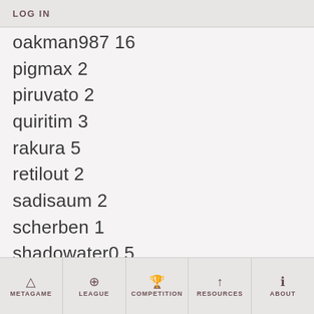LOG IN
oakman987 16
pigmax 2
piruvato 2
quiritim 3
rakura 5
retilout 2
sadisaum 2
scherben 1
shadowater0 5
shepherdjohn 12
silasary 1
spanky704 1
swiftwhite2 16
METAGAME | LEAGUE | COMPETITION | RESOURCES | ABOUT